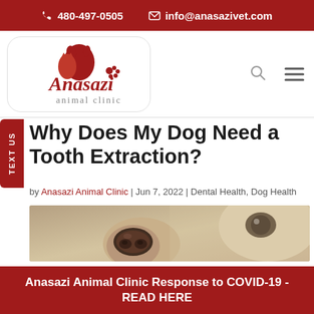📞 480-497-0505   ✉ info@anasazivet.com
[Figure (logo): Anasazi Animal Clinic logo with red silhouette of dog and cat, cursive 'Anasazi' text and 'animal clinic' below, with paw print]
Why Does My Dog Need a Tooth Extraction?
by Anasazi Animal Clinic | Jun 7, 2022 | Dental Health, Dog Health
[Figure (photo): Close-up photograph of a white dog's face, showing its nose and eye from a low angle]
Anasazi Animal Clinic Response to COVID-19 - READ HERE